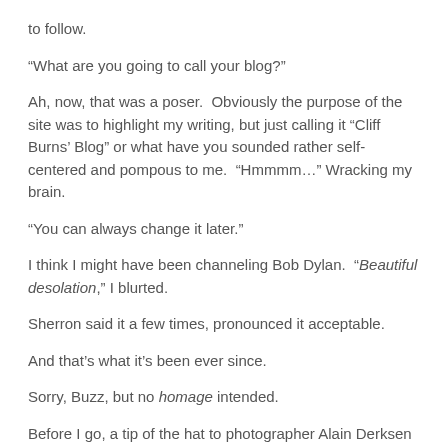to follow.
“What are you going to call your blog?”
Ah, now, that was a poser.  Obviously the purpose of the site was to highlight my writing, but just calling it “Cliff Burns’ Blog” or what have you sounded rather self-centered and pompous to me.  “Hmmmm…” Wracking my brain.
“You can always change it later.”
I think I might have been channeling Bob Dylan.  “Beautiful desolation,” I blurted.
Sherron said it a few times, pronounced it acceptable.
And that’s what it’s been ever since.
Sorry, Buzz, but no homage intended.
Before I go, a tip of the hat to photographer Alain Derksen for allowing me